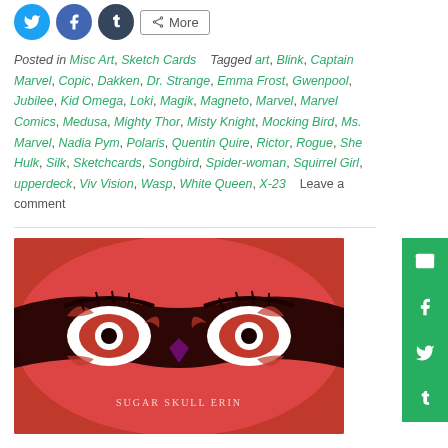[Figure (illustration): Social share buttons: Twitter (blue circle), Facebook (blue circle), Tumblr (dark circle), and More button]
Posted in Misc Art, Sketch Cards    Tagged art, Blink, Captain Marvel, Copic, Dakken, Dr. Strange, Emma Frost, Gwenpool, Jubilee, Kid Omega, Loki, Magik, Magneto, Marvel, Marvel Comics, Medusa, Mighty Thor, Misty Knight, Mocking Bird, Ms. Marvel, Nadia Pym, Polaris, Quentin Quire, Rictor, Rogue, She Hulk, Silk, Sketchcards, Songbird, Spider-woman, Squirrel Girl, upperdeck, Viv Vision, Wasp, White Queen, X-23    Leave a comment
[Figure (photo): Sugar Skull Erin face paint art — close-up of red and white sugar skull eye makeup with black outlines, watermarked 'Sugar Skull Erin']
Sugar Skull Erin
Posted on November 1, 2018